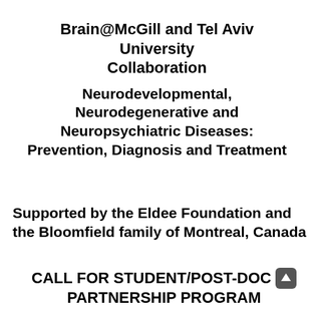Brain@McGill and Tel Aviv University Collaboration
Neurodevelopmental, Neurodegenerative and Neuropsychiatric Diseases: Prevention, Diagnosis and Treatment
Supported by the Eldee Foundation and the Bloomfield family of Montreal, Canada
CALL FOR STUDENT/POST-DOC PARTNERSHIP PROGRAM